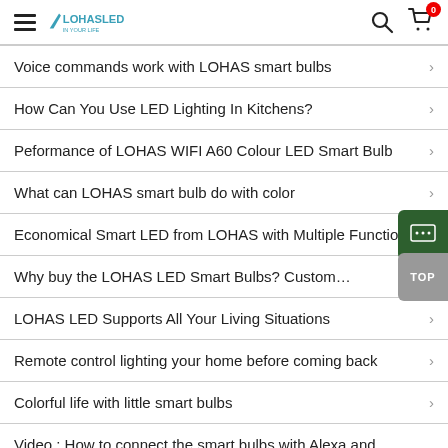LOHAS LED header with hamburger menu, logo, search and cart icons
Voice commands work with LOHAS smart bulbs
How Can You Use LED Lighting In Kitchens?
Peformance of LOHAS WIFI A60 Colour LED Smart Bulb
What can LOHAS smart bulb do with color
Economical Smart LED from LOHAS with Multiple Functions
Why buy the LOHAS LED Smart Bulbs? Customers tell you the re...
LOHAS LED Supports All Your Living Situations
Remote controllighting your home before coming back
Colorful life with little smart bulbs
Video : How to connect the smart bulbs with Alexa and Google Ho...